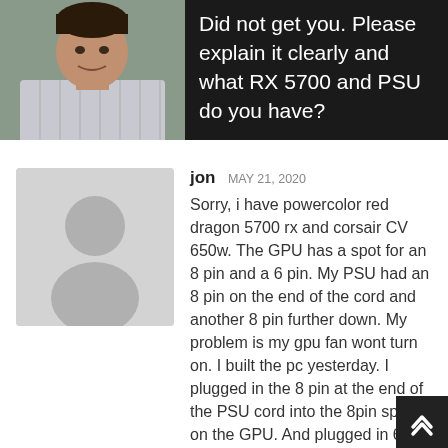Did not get you. Please explain it clearly and what RX 5700 and PSU do you have?
jon MAY 21, 2020
Sorry, i have powercolor red dragon 5700 rx and corsair CV 650w. The GPU has a spot for an 8 pin and a 6 pin. My PSU had an 8 pin on the end of the cord and another 8 pin further down. My problem is my gpu fan wont turn on. I built the pc yesterday. I plugged in the 8 pin at the end of the PSU cord into the 8pin spot on the GPU. And plugged in 6 of of 8 pins on the connector further down the cord into 6 pin spot on the GPU.